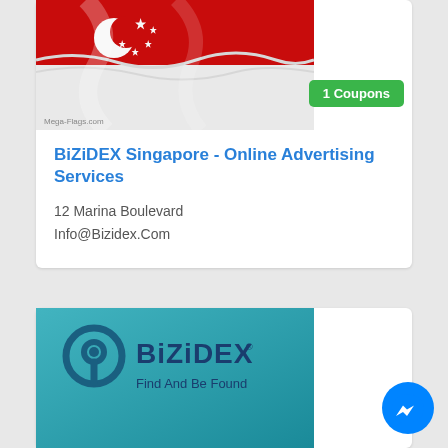[Figure (photo): Singapore flag waving, red and white with crescent moon and stars. Watermark: Mega-Flags.com]
1 Coupons
BiZiDEX Singapore - Online Advertising Services
12 Marina Boulevard
Info@Bizidex.Com
[Figure (logo): BiZiDEX logo on teal background with location pin icon. Text: BiZiDEX(R) Find And Be Found]
[Figure (other): Facebook Messenger blue circle button]